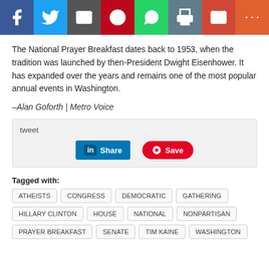[Figure (other): Social media share bar with icons for Facebook, Twitter, Email, Pinterest, WhatsApp, Print, Gmail, and More]
The National Prayer Breakfast dates back to 1953, when the tradition was launched by then-President Dwight Eisenhower. It has expanded over the years and remains one of the most popular annual events in Washington.
–Alan Goforth | Metro Voice
[Figure (screenshot): Tweet/share widget with LinkedIn Share button and Pinterest Save button]
Tagged with: ATHEISTS CONGRESS DEMOCRATIC GATHERING HILLARY CLINTON HOUSE NATIONAL NONPARTISAN PRAYER BREAKFAST SENATE TIM KAINE WASHINGTON